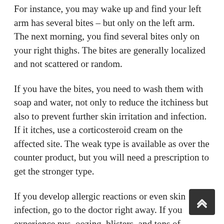For instance, you may wake up and find your left arm has several bites – but only on the left arm. The next morning, you find several bites only on your right thighs. The bites are generally localized and not scattered or random.
If you have the bites, you need to wash them with soap and water, not only to reduce the itchiness but also to prevent further skin irritation and infection. If it itches, use a corticosteroid cream on the affected site. The weak type is available as over the counter product, but you will need a prescription to get the stronger type.
If you develop allergic reactions or even skin infection, go to the doctor right away. If you experience pus, oozing, blisters, and tons of multiple bites all over the body, then you need